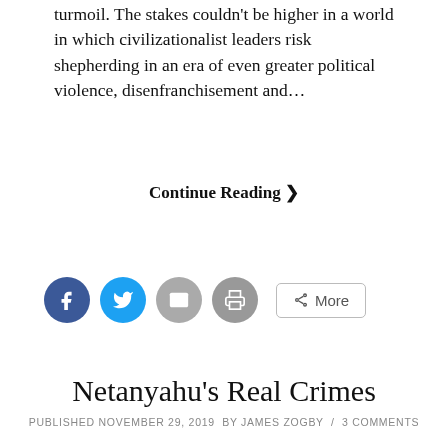turmoil. The stakes couldn't be higher in a world in which civilizationalist leaders risk shepherding in an era of even greater political violence, disenfranchisement and…
Continue Reading ❯
[Figure (other): Social share buttons: Facebook (blue circle), Twitter (light blue circle), Email (grey circle), Print (grey circle), and a More button with share icon]
Netanyahu's Real Crimes
PUBLISHED NOVEMBER 29, 2019  BY JAMES ZOGBY  /  3 COMMENTS
[Figure (photo): Photo of a man wearing a headset/headphones, wiping his eye with a cloth, in front of a blue background with flags]